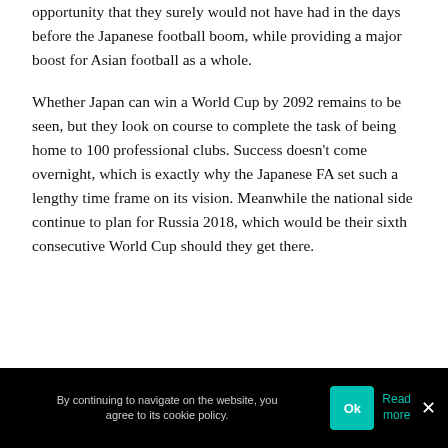opportunity that they surely would not have had in the days before the Japanese football boom, while providing a major boost for Asian football as a whole.
Whether Japan can win a World Cup by 2092 remains to be seen, but they look on course to complete the task of being home to 100 professional clubs. Success doesn't come overnight, which is exactly why the Japanese FA set such a lengthy time frame on its vision. Meanwhile the national side continue to plan for Russia 2018, which would be their sixth consecutive World Cup should they get there.
By continuing to navigate on the website, you agree to its cookie policy. Ok Read more ×